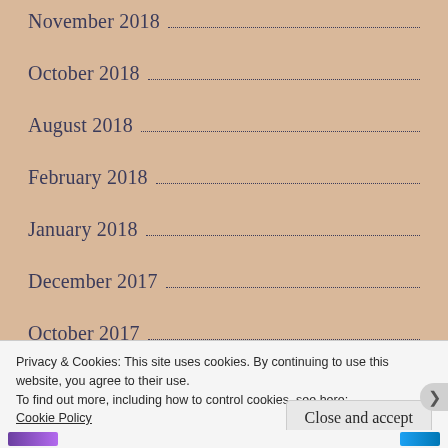November 2018
October 2018
August 2018
February 2018
January 2018
December 2017
October 2017
August 2017
July 2017
June 2017
Privacy & Cookies: This site uses cookies. By continuing to use this website, you agree to their use.
To find out more, including how to control cookies, see here: Cookie Policy
Close and accept